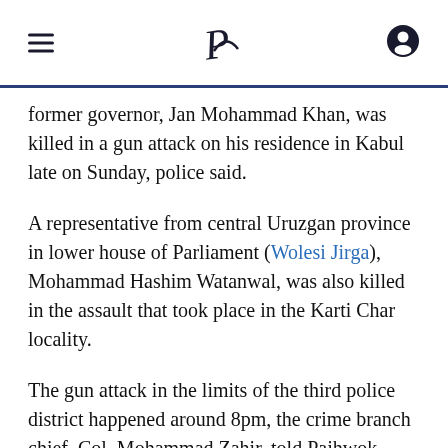Pajhwok Afghan News (logo/header)
former governor, Jan Mohammad Khan, was killed in a gun attack on his residence in Kabul late on Sunday, police said.
A representative from central Uruzgan province in lower house of Parliament (Wolesi Jirga), Mohammad Hashim Watanwal, was also killed in the assault that took place in the Karti Char locality.
The gun attack in the limits of the third police district happened around 8pm, the crime branch chief, Col. Mohammad Zahir, told Pajhwok Afghan News.
A police official, speaking on condition of anonymity, said that a suicide bomber blew himself up at the entrance of Khan’s house, enabling his associates to